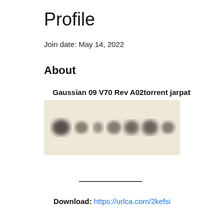Profile
Join date: May 14, 2022
About
Gaussian 09 V70 Rev A02torrent jarpat
[Figure (photo): Blurred image showing obscured text/password characters on a beige/cream background]
Download: https://urlca.com/2kefsi